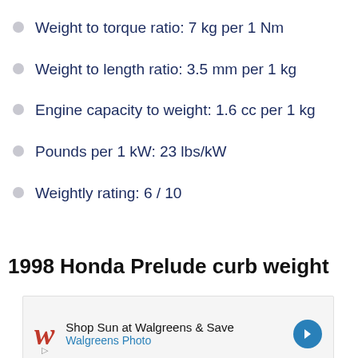Weight to torque ratio: 7 kg per 1 Nm
Weight to length ratio: 3.5 mm per 1 kg
Engine capacity to weight: 1.6 cc per 1 kg
Pounds per 1 kW: 23 lbs/kW
Weightly rating: 6 / 10
1998 Honda Prelude curb weight
[Figure (other): Walgreens advertisement banner: Shop Sun at Walgreens & Save, Walgreens Photo]